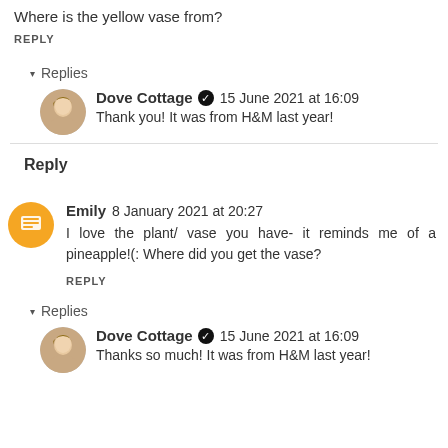Where is the yellow vase from?
REPLY
▾ Replies
Dove Cottage ✓ 15 June 2021 at 16:09
Thank you! It was from H&M last year!
Reply
Emily 8 January 2021 at 20:27
I love the plant/ vase you have- it reminds me of a pineapple!(: Where did you get the vase?
REPLY
▾ Replies
Dove Cottage ✓ 15 June 2021 at 16:09
Thanks so much! It was from H&M last year!